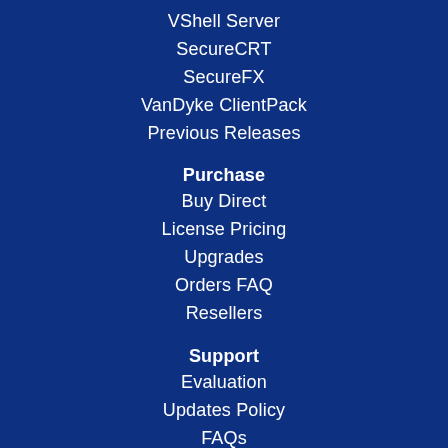VShell Server
SecureCRT
SecureFX
VanDyke ClientPack
Previous Releases
Purchase
Buy Direct
License Pricing
Upgrades
Orders FAQ
Resellers
Support
Evaluation
Updates Policy
FAQs
Tips & How-Tos